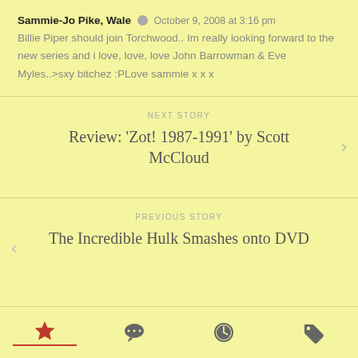Sammie-Jo Pike, Wale  October 9, 2008 at 3:16 pm
Billie Piper should join Torchwood.. Im really looking forward to the new series and i love, love, love John Barrowman & Eve Myles..>sxy bitchez :PLove sammie x x x
NEXT STORY
Review: 'Zot! 1987-1991' by Scott McCloud
PREVIOUS STORY
The Incredible Hulk Smashes onto DVD